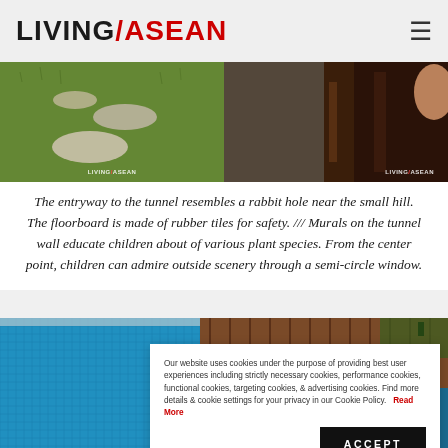LIVING ASEAN
[Figure (photo): Two photos side by side: left shows stepping stones on green grass lawn with LIVINGASEAN watermark; right shows a dark wooden interior detail with LIVINGASEAN watermark]
The entryway to the tunnel resembles a rabbit hole near the small hill. The floorboard is made of rubber tiles for safety. /// Murals on the tunnel wall educate children about of various plant species. From the center point, children can admire outside scenery through a semi-circle window.
[Figure (photo): Bottom image showing a swimming pool with blue water tiles and wooden deck, partially covered by cookie consent banner]
Our website uses cookies under the purpose of providing best user experiences including strictly necessary cookies, performance cookies, functional cookies, targeting cookies, & advertising cookies. Find more details & cookie settings for your privacy in our Cookie Policy. Read More
ACCEPT